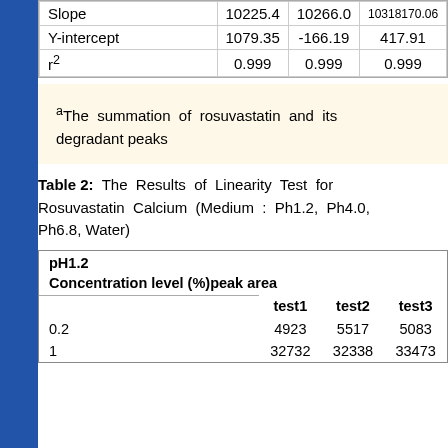|  | test1 | test2 | test3 |
| --- | --- | --- | --- |
| Slope | 10225.4 | 10266.0 | 10318170.06 |
| Y-intercept | 1079.35 | -166.19 | 417.91 |
| r² | 0.999 | 0.999 | 0.999 |
aThe summation of rosuvastatin and its degradant peaks
Table 2: The Results of Linearity Test for Rosuvastatin Calcium (Medium : Ph1.2, Ph4.0, Ph6.8, Water)
| pH1.2 |  |  |  |
| --- | --- | --- | --- |
| Concentration level (%)peak area |  |  |  |
|  | test1 | test2 | test3 |
| 0.2 | 4923 | 5517 | 5083 |
| 1 | 32732 | 32338 | 33473 |